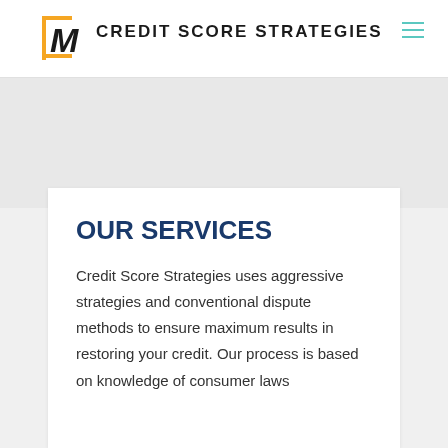M CREDIT SCORE STRATEGIES
OUR SERVICES
Credit Score Strategies uses aggressive strategies and conventional dispute methods to ensure maximum results in restoring your credit. Our process is based on knowledge of consumer laws